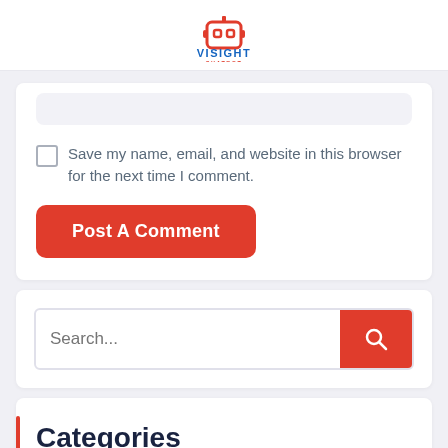[Figure (logo): VISIGHT CHATBOT logo — red robot face icon with blue text 'VISIGHT' and red text 'CHATBOT']
Save my name, email, and website in this browser for the next time I comment.
Post A Comment
Search...
Categories